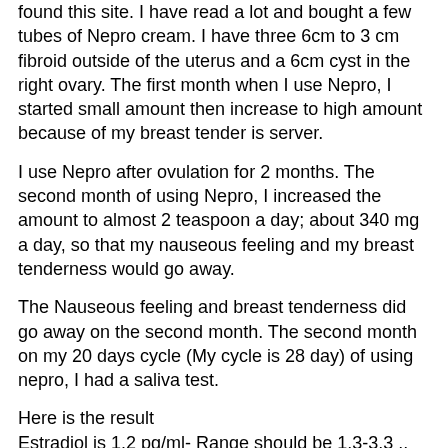found this site. I have read a lot and bought a few tubes of Nepro cream. I have three 6cm to 3 cm fibroid outside of the uterus and a 6cm cyst in the right ovary. The first month when I use Nepro, I started small amount then increase to high amount because of my breast tender is server.
I use Nepro after ovulation for 2 months. The second month of using Nepro, I increased the amount to almost 2 teaspoon a day; about 340 mg a day, so that my nauseous feeling and my breast tenderness would go away.
The Nauseous feeling and breast tenderness did go away on the second month. The second month on my 20 days cycle (My cycle is 28 day) of using nepro, I had a saliva test.
Here is the result
Estradiol is 1.2 pg/ml- Range should be 1.3-3.3 .. Estrogen is low
Progesterone is 17649 Range should be 75-270
Now my Progesterone is so high.
This is my third month, I am experience hot flashes, night sweat constantly. I know I am 40, but I have never experience this before ever!
I also have been taking whole food vitamin d3 and the vitamin d3 cream.